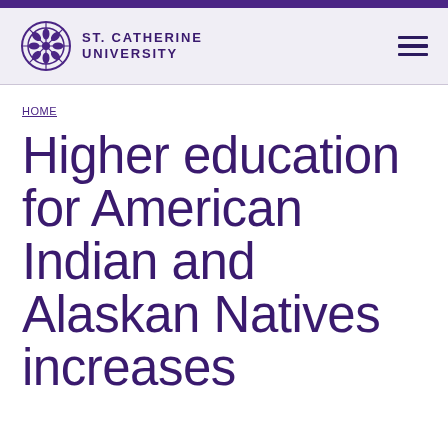St. Catherine University
HOME
Higher education for American Indian and Alaskan Natives increases